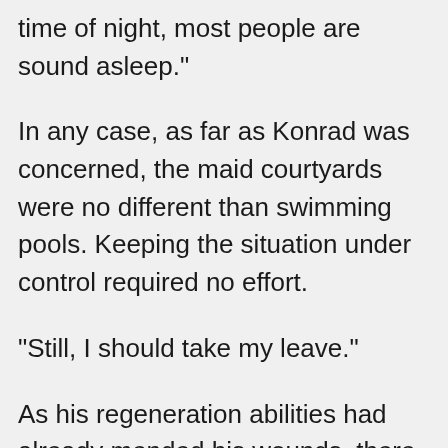time of night, most people are sound asleep."
In any case, as far as Konrad was concerned, the maid courtyards were no different than swimming pools. Keeping the situation under control required no effort.
"Still, I should take my leave."
As his regeneration abilities had already mended his wounds, there was no significance in staying any longer.
But before he could stand up, Jasmine's firm gaze met